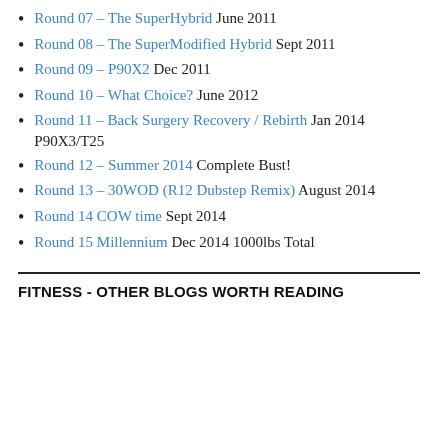Round 07 – The SuperHybrid June 2011
Round 08 – The SuperModified Hybrid Sept 2011
Round 09 – P90X2 Dec 2011
Round 10 – What Choice? June 2012
Round 11 – Back Surgery Recovery / Rebirth Jan 2014 P90X3/T25
Round 12 – Summer 2014 Complete Bust!
Round 13 – 30WOD (R12 Dubstep Remix) August 2014
Round 14 COW time Sept 2014
Round 15 Millennium Dec 2014 1000lbs Total
FITNESS - OTHER BLOGS WORTH READING